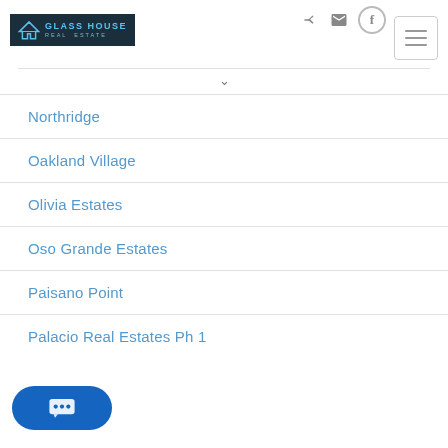[Figure (logo): Glass House Real Estate logo — dark navy background with house/triangle icon and text]
Northridge
Oakland Village
Olivia Estates
Oso Grande Estates
Paisano Point
Palacio Real Estates Ph 1